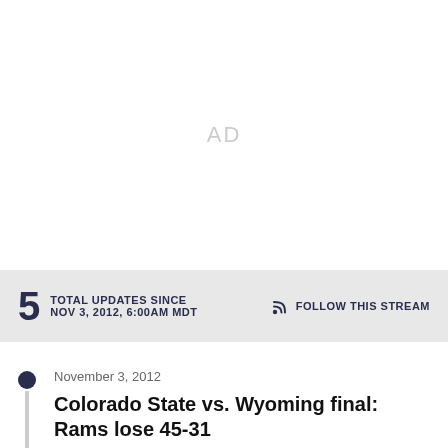[Figure (other): Advertisement placeholder area with 'AD' text in light gray]
5 TOTAL UPDATES SINCE NOV 3, 2012, 6:00AM MDT   FOLLOW THIS STREAM
November 3, 2012
Colorado State vs. Wyoming final: Rams lose 45-31